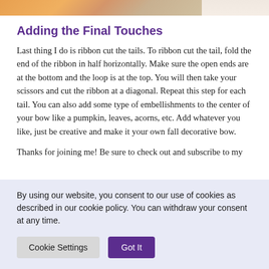[Figure (photo): Partial cropped view of a decorative bow craft photo showing orange and other colored ribbons]
Adding the Final Touches
Last thing I do is ribbon cut the tails. To ribbon cut the tail, fold the end of the ribbon in half horizontally. Make sure the open ends are at the bottom and the loop is at the top. You will then take your scissors and cut the ribbon at a diagonal. Repeat this step for each tail. You can also add some type of embellishments to the center of your bow like a pumpkin, leaves, acorns, etc. Add whatever you like, just be creative and make it your own fall decorative bow.
Thanks for joining me! Be sure to check out and subscribe to my
By using our website, you consent to our use of cookies as described in our cookie policy. You can withdraw your consent at any time.